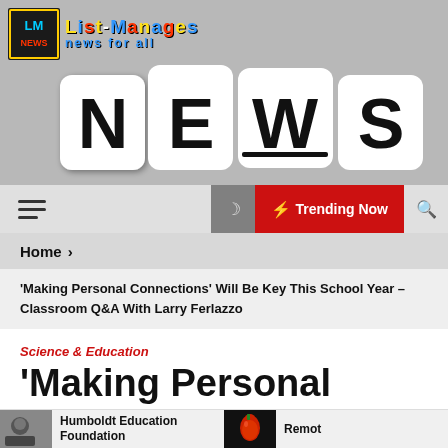[Figure (photo): News website header banner showing white dice spelling NEWS on a newspaper background, with List-Manages News For All logo in top left]
List-Manages News For All
☰  ☽  ⚡ Trending Now  🔍
Home >
'Making Personal Connections' Will Be Key This School Year – Classroom Q&A With Larry Ferlazzo
Science & Education
'Making Personal
Humboldt Education Foundation
Remot